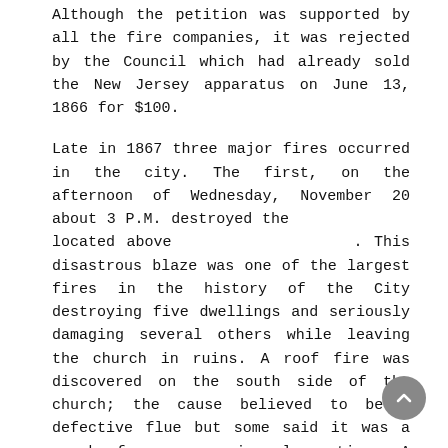Although the petition was supported by all the fire companies, it was rejected by the Council which had already sold the New Jersey apparatus on June 13, 1866 for $100.
Late in 1867 three major fires occurred in the city. The first, on the afternoon of Wednesday, November 20 about 3 P.M. destroyed the located above . This disastrous blaze was one of the largest fires in the history of the City destroying five dwellings and seriously damaging several others while leaving the church in ruins. A roof fire was discovered on the south side of the church; the cause believed to be a defective flue but some said it was a spark from a passing locomotive. A stiff southwest breeze quickly spread the flames, overwhelming all efforts by the firemen. summoned assistance from several Philadelphia volunteer companies as Camden's fire fighters turned their efforts toward saving exposures. These efforts were greatly hampered by an inadequate water supply. The dwellings at